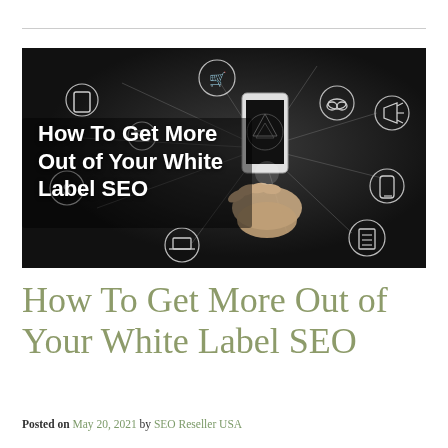[Figure (photo): Dark background photo of hands holding a smartphone with digital network icons (shopping cart, tablet, cloud, megaphone, dollar sign, phone, laptop, list) connected by lines. White bold text overlay reads: How To Get More Out of Your White Label SEO]
How To Get More Out of Your White Label SEO
Posted on May 20, 2021 by SEO Reseller USA